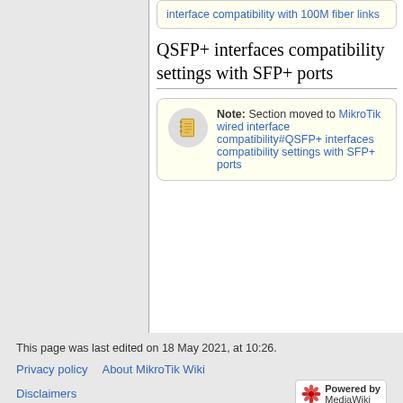interface compatibility with 100M fiber links
QSFP+ interfaces compatibility settings with SFP+ ports
Note: Section moved to MikroTik wired interface compatibility#QSFP+ interfaces compatibility settings with SFP+ ports
This page was last edited on 18 May 2021, at 10:26.
Privacy policy   About MikroTik Wiki
Disclaimers